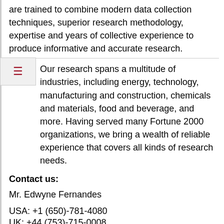are trained to combine modern data collection techniques, superior research methodology, expertise and years of collective experience to produce informative and accurate research.
Our research spans a multitude of industries, including energy, technology, manufacturing and construction, chemicals and materials, food and beverage, and more. Having served many Fortune 2000 organizations, we bring a wealth of reliable experience that covers all kinds of research needs.
Contact us:
Mr. Edwyne Fernandes
USA: +1 (650)-781-4080
UK: +44 (753)-715-0008